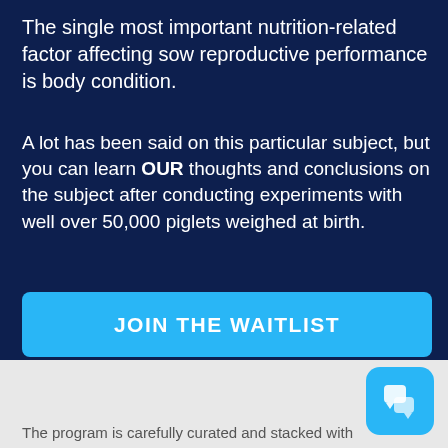The single most important nutrition-related factor affecting sow reproductive performance is body condition.
A lot has been said on this particular subject, but you can learn OUR thoughts and conclusions on the subject after conducting experiments with well over 50,000 piglets weighed at birth.
JOIN THE WAITLIST
The program is carefully curated and stacked with